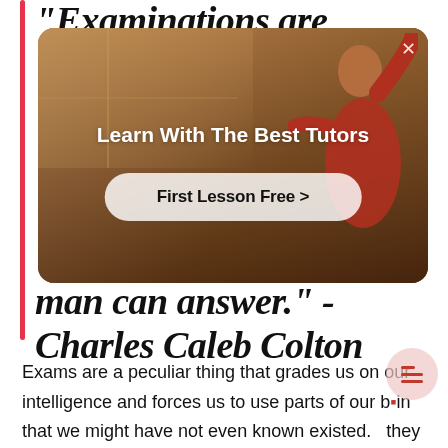"Examinations are formidable even to the best prepared, for the greatest fool may ask more than the wisest man can answer." - Charles Caleb Colton
[Figure (photo): Advertisement overlay card showing a tutor/student with racket in a gym, with text 'Learn With The Best Tutors' and a button 'First Lesson Free >' and a close (X) button in top right corner.]
Exams are a peculiar thing that grades us on our intelligence and forces us to use parts of our brain that we might have not even known existed. they are so essential to pass college courses and to